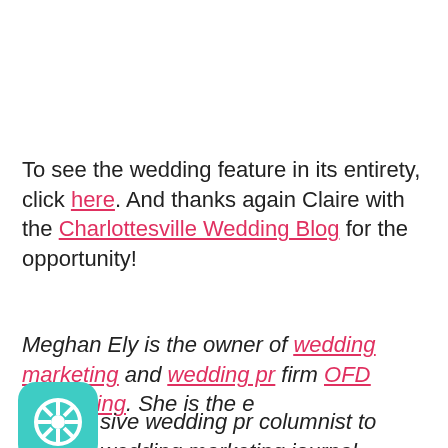To see the wedding feature in its entirety, click here. And thanks again Claire with the Charlottesville Wedding Blog for the opportunity!
Meghan Ely is the owner of wedding marketing and wedding pr firm OFD Consulting. She is the exclusive wedding pr columnist to wedding marketing journal WedLock magazine and is a
[Figure (logo): Teal rounded square icon with a circular symbol (resembling a help/support wheel icon) in white]